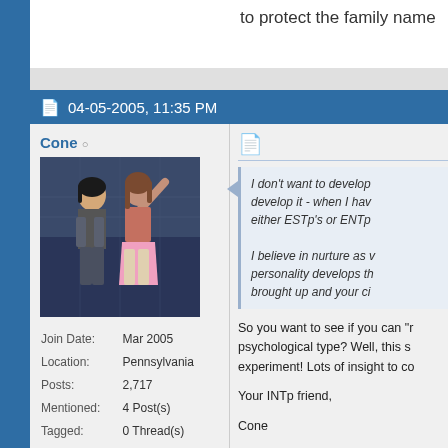to protect the family name
04-05-2005, 11:35 PM
Cone
[Figure (illustration): Anime-style illustration of two characters, a male and female, viewed from behind, in a blue and dark-toned environment]
| Join Date: | Mar 2005 |
| Location: | Pennsylvania |
| Posts: | 2,717 |
| Mentioned: | 4 Post(s) |
| Tagged: | 0 Thread(s) |
I don't want to develop it - when I have either ESTp's or ENTp
I believe in nurture as personality develops th brought up and your ci
So you want to see if you can "r psychological type? Well, this s experiment! Lots of insight to co
Your INTp friend,
Cone